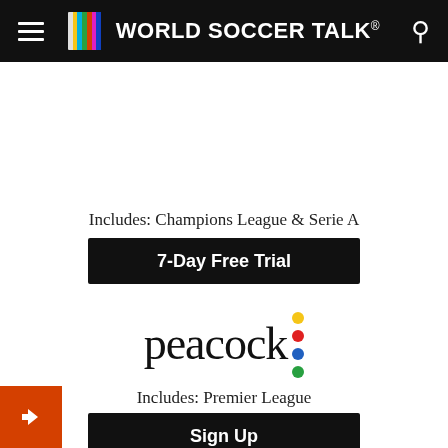[Figure (logo): World Soccer Talk website header with hamburger menu, colorful TV test-bars logo, site name 'WORLD SOCCER TALK' in white on black background, and search icon]
Includes: Champions League & Serie A
7-Day Free Trial
[Figure (logo): Peacock streaming service logo: 'peacock' in dark serif font with four colored dots (yellow, red, blue, green) arranged vertically to the right]
Includes: Premier League
Sign Up